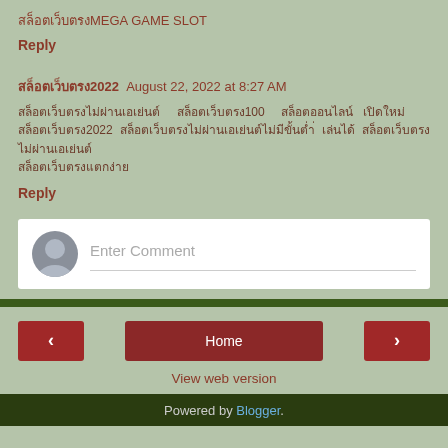สล็อตเว็บตรงMEGA GAME SLOT
Reply
สล็อตเว็บตรง2022  August 22, 2022 at 8:27 AM
สล็อตเว็บตรงไม่ผ่านเอเย่นต์     สล็อตเว็บตรง100     สล็อตออนไลน์   เปิดใหม่ สล็อตเว็บตรง2022  สล็อตเว็บตรงไม่ผ่านเอเย่นต์ไม่มีขั้นต่ำ  เล่นได้  สล็อตเว็บตรงไม่ผ่านเอเย่นต์ สล็อตเว็บตรงแตกง่าย
Reply
Enter Comment
Home
View web version
Powered by Blogger.